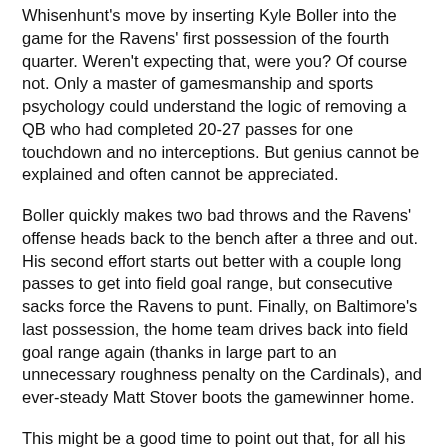Whisenhunt's move by inserting Kyle Boller into the game for the Ravens' first possession of the fourth quarter. Weren't expecting that, were you? Of course not. Only a master of gamesmanship and sports psychology could understand the logic of removing a QB who had completed 20-27 passes for one touchdown and no interceptions. But genius cannot be explained and often cannot be appreciated.
Boller quickly makes two bad throws and the Ravens' offense heads back to the bench after a three and out. His second effort starts out better with a couple long passes to get into field goal range, but consecutive sacks force the Ravens to punt. Finally, on Baltimore's last possession, the home team drives back into field goal range again (thanks in large part to an unnecessary roughness penalty on the Cardinals), and ever-steady Matt Stover boots the gamewinner home.
This might be a good time to point out that, for all his flaws, Steve McNair is supposed to be a great clutch player. He's the guy who led the final scoring drive against San Diego last season, to name one. Over and over, we hear how calm and …